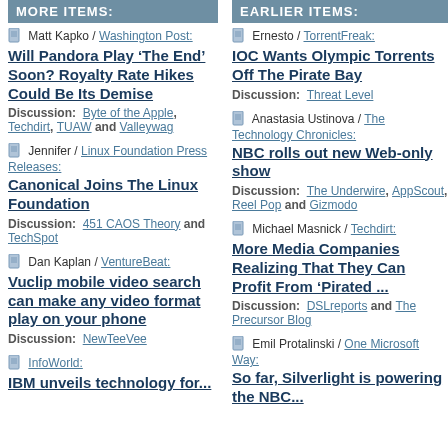MORE ITEMS:
EARLIER ITEMS:
Matt Kapko / Washington Post: Will Pandora Play ‘The End’ Soon? Royalty Rate Hikes Could Be Its Demise
Discussion: Byte of the Apple, Techdirt, TUAW and Valleywag
Jennifer / Linux Foundation Press Releases: Canonical Joins The Linux Foundation
Discussion: 451 CAOS Theory and TechSpot
Dan Kaplan / VentureBeat: Vuclip mobile video search can make any video format play on your phone
Discussion: NewTeeVee
InfoWorld: IBM unveils...
Ernesto / TorrentFreak: IOC Wants Olympic Torrents Off The Pirate Bay
Discussion: Threat Level
Anastasia Ustinova / The Technology Chronicles: NBC rolls out new Web-only show
Discussion: The Underwire, AppScout, Reel Pop and Gizmodo
Michael Masnick / Techdirt: More Media Companies Realizing That They Can Profit From 'Pirated ...
Discussion: DSLreports and The Precursor Blog
Emil Protalinski / One Microsoft Way: So far, Silverlight is powering the NBC...